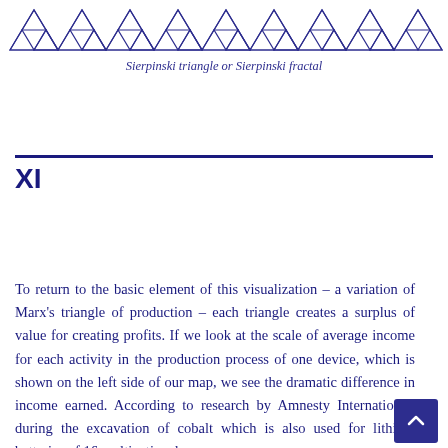[Figure (illustration): Sierpinski triangle fractal pattern rendered as repeating rows of blue outlined triangles across the top of the page]
Sierpinski triangle or Sierpinski fractal
XI
To return to the basic element of this visualization – a variation of Marx's triangle of production – each triangle creates a surplus of value for creating profits. If we look at the scale of average income for each activity in the production process of one device, which is shown on the left side of our map, we see the dramatic difference in income earned. According to research by Amnesty International, during the excavation of cobalt which is also used for lithium batteries of 16 multinational